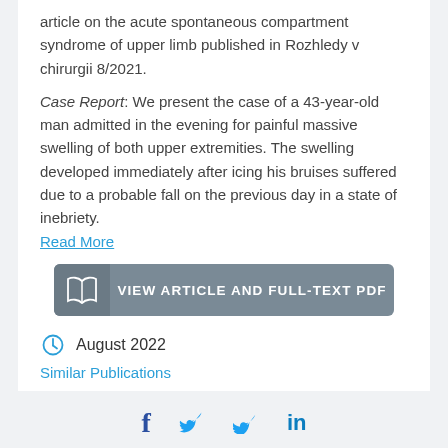article on the acute spontaneous compartment syndrome of upper limb published in Rozhledy v chirurgii 8/2021.
Case Report: We present the case of a 43-year-old man admitted in the evening for painful massive swelling of both upper extremities. The swelling developed immediately after icing his bruises suffered due to a probable fall on the previous day in a state of inebriety.
Read More
[Figure (other): Button with open book icon and text: VIEW ARTICLE AND FULL-TEXT PDF]
August 2022
Similar Publications
[Figure (other): Social sharing bar with Facebook, Twitter, and LinkedIn icons]